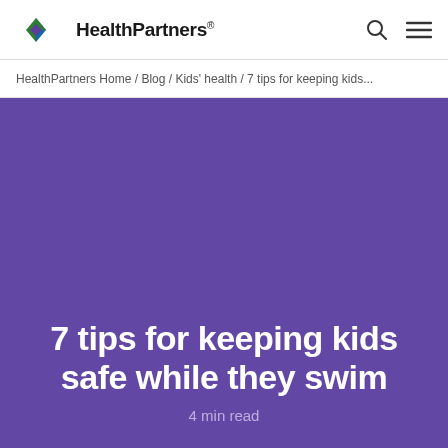HealthPartners®
HealthPartners Home / Blog / Kids' health / 7 tips for keeping kids...
[Figure (illustration): Purple hero banner background for blog article]
7 tips for keeping kids safe while they swim
4 min read